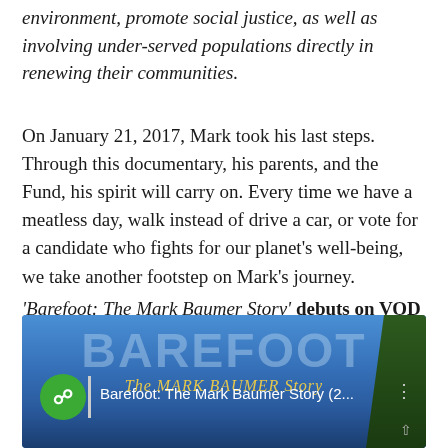environment, promote social justice, as well as involving under-served populations directly in renewing their communities.
On January 21, 2017, Mark took his last steps. Through this documentary, his parents, and the Fund, his spirit will carry on. Every time we have a meatless day, walk instead of drive a car, or vote for a candidate who fights for our planet's well-being, we take another footstep on Mark's journey.
'Barefoot: The Mark Baumer Story' debuts on VOD and digital on October 27th.
[Figure (screenshot): Video thumbnail or player screenshot showing 'Barefoot: The Mark Baumer Story (2...' with a green chat icon, blue background with large faded BAREFOOT text, yellow script subtitle 'The MARK BAUMER Story', and a dark tree on the right side.]